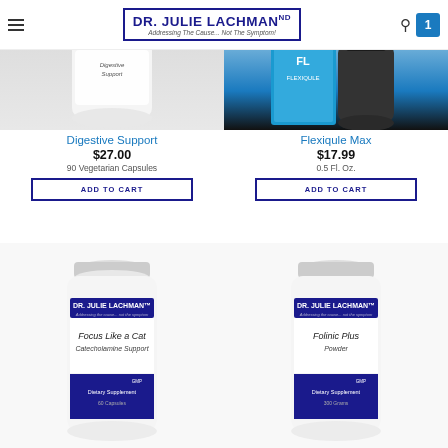Dr. Julie Lachman ND — Addressing The Cause... Not The Symptom!
[Figure (photo): Digestive Support supplement bottle (white, partial view)]
Digestive Support
$27.00
90 Vegetarian Capsules
ADD TO CART
[Figure (photo): Flexiqule Max supplement box and bottle (cyan/black)]
Flexiqule Max
$17.99
0.5 Fl. Oz.
ADD TO CART
[Figure (photo): Dr. Julie Lachman Focus Like a Cat Catecholamine Support supplement bottle]
[Figure (photo): Dr. Julie Lachman Folinic Plus Powder supplement bottle]